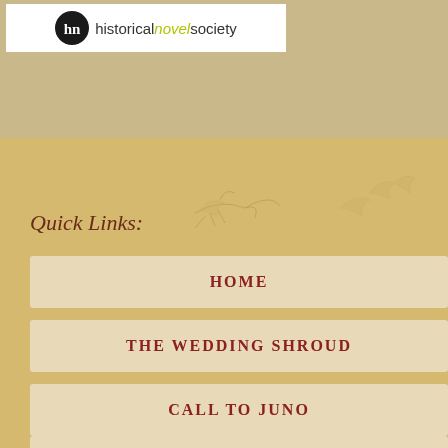[Figure (logo): Historical Novel Society logo — circular black icon with 'hn' initials and the text 'historicalnovelsociety' with 'novel' in yellow-green italic]
Quick Links:
HOME
THE WEDDING SHROUD
CALL TO JUNO
THE GOLDEN DICE